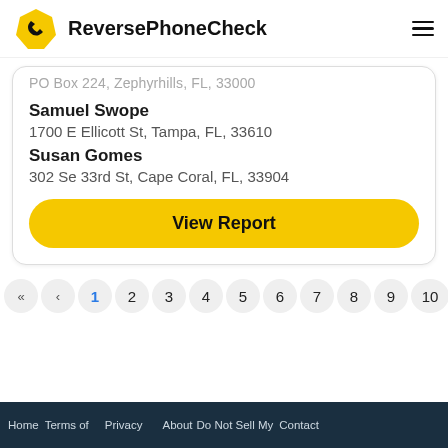ReversePhoneCheck
PO Box 224, Zephyr Hills, FL, 33000
Samuel Swope
1700 E Ellicott St, Tampa, FL, 33610
Susan Gomes
302 Se 33rd St, Cape Coral, FL, 33904
View Report
Home  Terms of  Privacy  About  Do Not Sell My  Contact